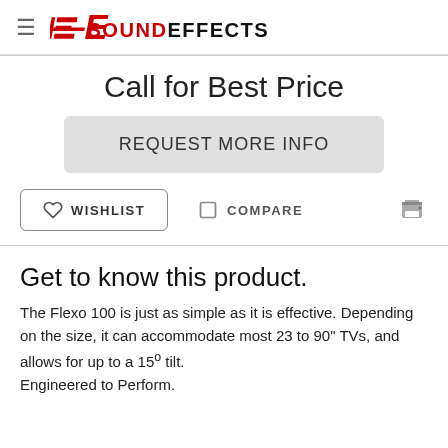Sound Effects logo and navigation
Call for Best Price
REQUEST MORE INFO
WISHLIST
COMPARE
Get to know this product.
The Flexo 100 is just as simple as it is effective. Depending on the size, it can accommodate most 23 to 90" TVs, and allows for up to a 15° tilt. Engineered to Perform.